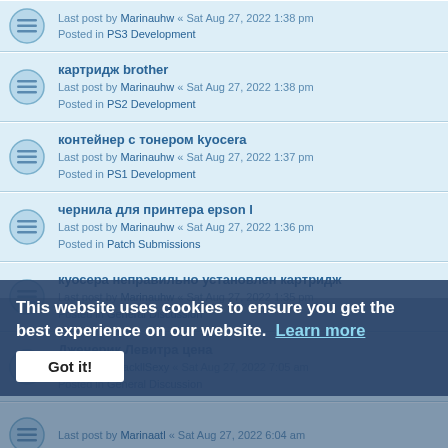картридж brother
Last post by Marinauhw « Sat Aug 27, 2022 1:38 pm
Posted in PS2 Development
контейнер с тонером kyocera
Last post by Marinauhw « Sat Aug 27, 2022 1:37 pm
Posted in PS1 Development
чернила для принтера epson l
Last post by Marinauhw « Sat Aug 27, 2022 1:36 pm
Posted in Patch Submissions
куосера неправильно установлен картридж
Last post by Marinauhw « Sat Aug 27, 2022 1:35 pm
Posted in General Discussion
Дженерик Левитра цена
Last post by jackllSexy « Sat Aug 27, 2022 7:05 am
Posted in General Discussion
Last post by Marinaatl « Sat Aug 27, 2022 6:04 am
чернила epson l366 купить
Last post by Marinaatl « Sat Aug 27, 2022 6:03 am
Posted in PSP Lua Player Development
чернила ink mate для hp
Last post by Marinaatl « Sat Aug 27, 2022 6:02 am
Posted in PSP Development
This website uses cookies to ensure you get the best experience on our website. Learn more
Got it!